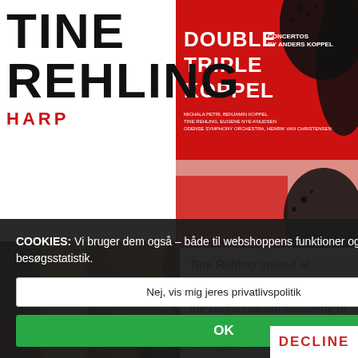TINE REHLING HARP
[Figure (photo): Album cover: DOUBLE TRIPLE KOPPEL - Concertos by Anders Koppel, featuring Michala Petri, Benjamin Koppel, Tine Rehling, Eugene Nye-Knudsen, Odense Symphony Orchestra, Henrik van Christensen. Red and black abstract design.]
[Figure (photo): Photo of Tine Rehling, a woman with brown hair smiling, standing next to a golden decorative harp. Photo credit: Ole Haupt.]
Tine Rehling trained at the Royal Danish Academy of Music with professor Sonja Gislinge, and with Distinguished Professor Susann
COOKIES: Vi bruger dem også – både til webshoppens funktioner og til besøgsstatistik.
Nej, vis mig jeres privatlivspolitik
OK
DECLINE